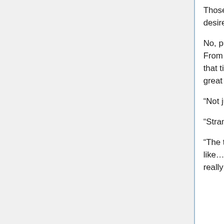Those words were something he never expected to hear from Aine, who desired so much for a powerful long range weapon.
No, putting aside Aine's thinking, he also had his own circumstances. From now on too, powerful enemies like Gravel might appear again. At that time, if Aine's Corruption Armament became unusable, it would be a great loss for their battle strength.
“Not just that……recently, even Heart Hybrid felt strange somehow.”
“Strange you say, strange how?”
“The time when we did Heart Hybrid in the lab before this too, I felt like……like I’m going to remember something. It was like a haze and not really clear but, that, felt like something that I must not...